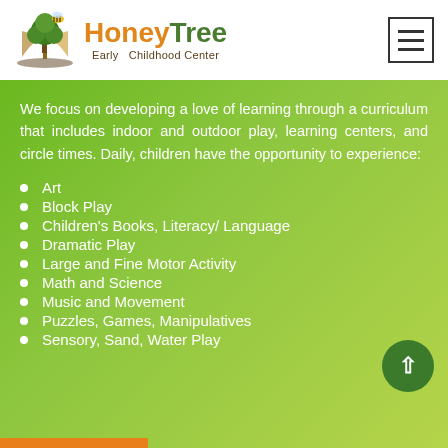[Figure (logo): HoneyTree Early Childhood Center logo with tree and bee illustration]
We focus on developing a love of learning through a curriculum that includes indoor and outdoor play, learning centers, and circle times. Daily, children have the opportunity to experience:
Art
Block Play
Children's Books, Literacy/ Language
Dramatic Play
Large and Fine Motor Activity
Math and Science
Music and Movement
Puzzles, Games, Manipulatives
Sensory, Sand, Water Play